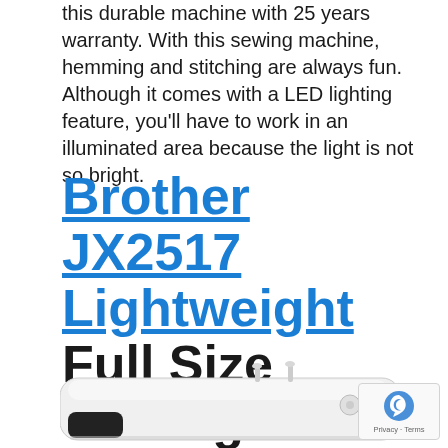this durable machine with 25 years warranty. With this sewing machine, hemming and stitching are always fun. Although it comes with a LED lighting feature, you'll have to work in an illuminated area because the light is not so bright.
Brother JX2517 Lightweight Full Size Sewing Machine
[Figure (photo): Photo of a white Brother JX2517 sewing machine, showing the top and side view with thread spool holders visible on top.]